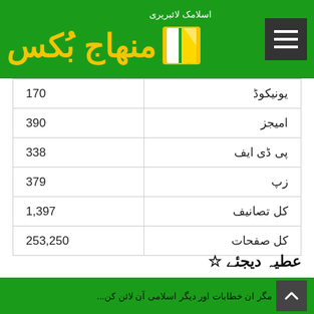[Figure (logo): Minhaj Books Islamic Library logo with green background, yellow Arabic text, book icon, and hamburger menu icon]
| یونیکوڈ | 170 |
| امیجز | 390 |
| پی ڈی ایف | 338 |
| زپ | 379 |
| کل تصانیف | 1,397 |
| کل صفحات | 253,250 |
عطیہ دیجئے
مگر ان خطابات اور دیگر اسلامی آن لائن کن...